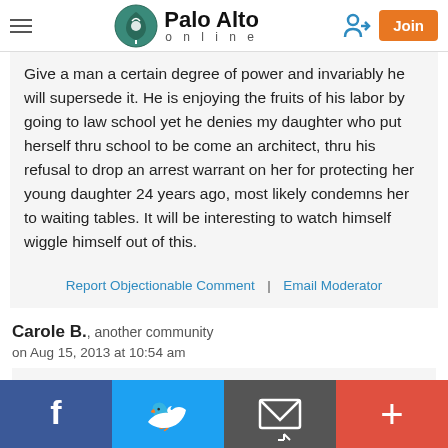Palo Alto online
Give a man a certain degree of power and invariably he will supersede it. He is enjoying the fruits of his labor by going to law school yet he denies my daughter who put herself thru school to be come an architect, thru his refusal to drop an arrest warrant on her for protecting her young daughter 24 years ago, most likely condemns her to waiting tables. It will be interesting to watch himself wiggle himself out of this.
Report Objectionable Comment | Email Moderator
Carole B., another community
on Aug 15, 2013 at 10:54 am
[Figure (infographic): Social share bar with Facebook, Twitter, Email, and Plus buttons]